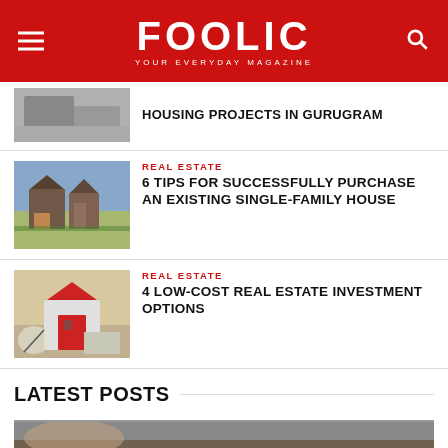FOOLIC — YOUR EVERYDAY MAGAZINE
HOUSING PROJECTS IN GURUGRAM
REAL ESTATE
6 TIPS FOR SUCCESSFULLY PURCHASE AN EXISTING SINGLE-FAMILY HOUSE
REAL ESTATE
4 LOW-COST REAL ESTATE INVESTMENT OPTIONS
LATEST POSTS